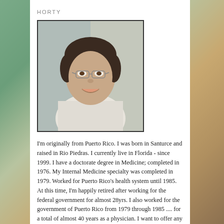HORTY
[Figure (photo): Portrait photo of a middle-aged woman with short dark hair, wearing glasses and a light-colored shirt, smiling at the camera. Photo has a dark border frame.]
I'm originally from Puerto Rico. I was born in Santurce and raised in Rio Piedras. I currently live in Florida - since 1999. I have a doctorate degree in Medicine; completed in 1976. My Internal Medicine specialty was completed in 1979. Worked for Puerto Rico's health system until 1985. At this time, I'm happily retired after working for the federal government for almost 28yrs. I also worked for the government of Puerto Rico from 1979 through 1985 .... for a total of almost 40 years as a physician. I want to offer any knowledge that I have to anyone "out there" who is interested. My views are liberal in almost every sense. My knowledge is "eclectic" - a bit of everything. Music and reading are my passion. Blogging has also become a very interesting endeavor. Metaphysical topics attract me. I'm interested in...